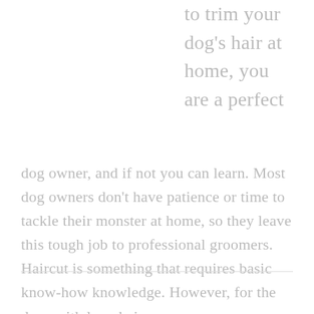know how to trim your dog's hair at home, you are a perfect dog owner, and if not you can learn. Most dog owners don't have patience or time to tackle their monster at home, so they leave this tough job to professional groomers. Haircut is something that requires basic know-how knowledge. However, for the dogs with long hair, you